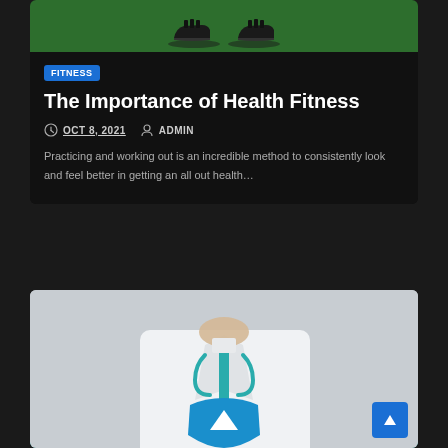[Figure (illustration): Green background with running shoes silhouette at bottom]
FITNESS
The Importance of Health Fitness
OCT 8, 2021   ADMIN
Practicing and working out is an incredible method to consistently look and feel better in getting an all out health…
[Figure (photo): Doctor in white coat holding a blue object, partial view of torso]